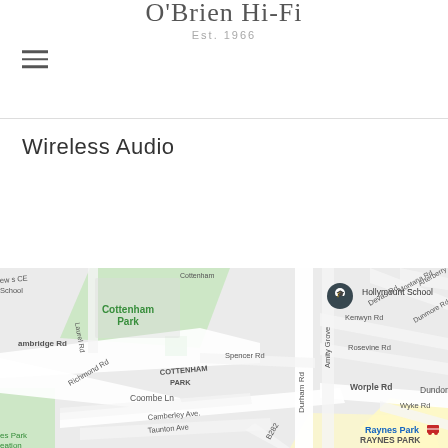O'Brien Hi-Fi Est. 1966
Wireless Audio
[Figure (map): Google Maps screenshot showing the area around Raynes Park, London, including Cottenham Park, Hollymount School, Richmond Rd, Durham Rd, Worple Rd, Coombe Ln, and Raynes Park station.]